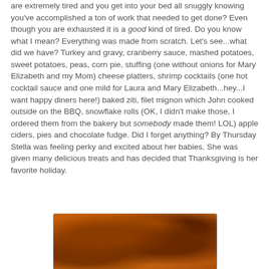are extremely tired and you get into your bed all snuggly knowing you've accomplished a ton of work that needed to get done? Even though you are exhausted it is a good kind of tired. Do you know what I mean? Everything was made from scratch. Let's see...what did we have? Turkey and gravy, cranberry sauce, mashed potatoes, sweet potatoes, peas, corn pie, stuffing (one without onions for Mary Elizabeth and my Mom) cheese platters, shrimp cocktails (one hot cocktail sauce and one mild for Laura and Mary Elizabeth...hey...I want happy diners here!) baked ziti, filet mignon which John cooked outside on the BBQ, snowflake rolls (OK, I didn't make those, I ordered them from the bakery but somebody made them! LOL) apple ciders, pies and chocolate fudge. Did I forget anything? By Thursday Stella was feeling perky and excited about her babies. She was given many delicious treats and has decided that Thanksgiving is her favorite holiday.
[Figure (photo): Close-up photo of what appears to be a baked dish, possibly a pie or casserole, showing a golden-brown, textured surface with darker spots and crevices.]